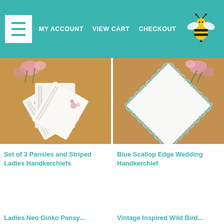MY ACCOUNT  VIEW CART  CHECKOUT
[Figure (photo): Three white handkerchiefs with embroidered pansy and floral designs fanned out, with pink flowers in background on a wooden surface]
Set of 3 Pansies and Striped Ladies Handkerchiefs
[Figure (photo): Single white handkerchief with blue scallop edge laid flat on wooden surface, with pink flowers in background]
Blue Scallop Edge Wedding Handkerchief
Ladies Neo Ginko Pansy...
Vintage Inspired Wild Bird...